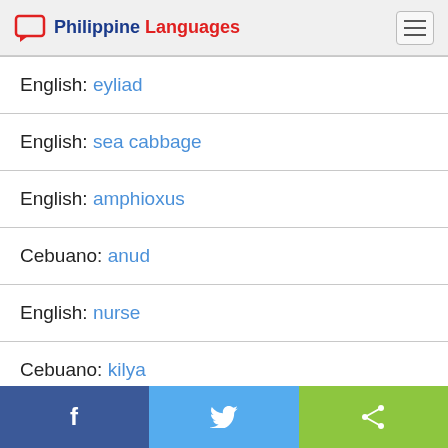Philippine Languages
English: eyliad
English: sea cabbage
English: amphioxus
Cebuano: anud
English: nurse
Cebuano: kilya
Facebook | Twitter | Share